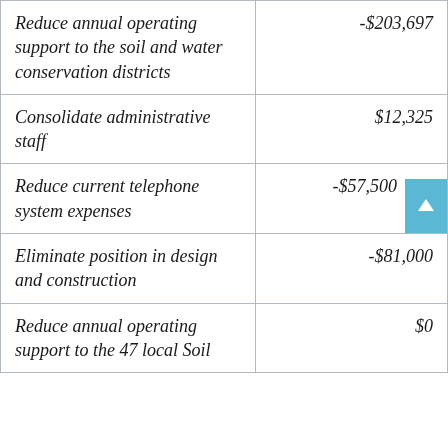| Description | Amount |
| --- | --- |
| Reduce annual operating support to the soil and water conservation districts | -$203,697 |
| Consolidate administrative staff | $12,325 |
| Reduce current telephone system expenses | -$57,500 |
| Eliminate position in design and construction | -$81,000 |
| Reduce annual operating support to the 47 local Soil | $0 |